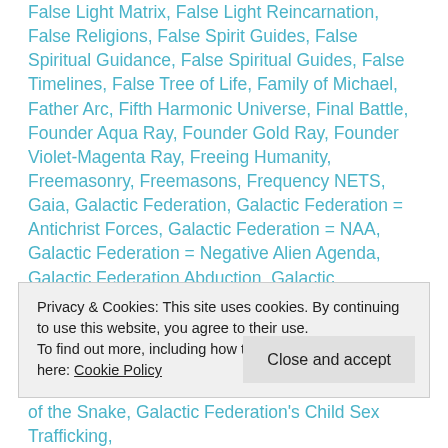False Light Matrix, False Light Reincarnation, False Religions, False Spirit Guides, False Spiritual Guidance, False Spiritual Guides, False Timelines, False Tree of Life, Family of Michael, Father Arc, Fifth Harmonic Universe, Final Battle, Founder Aqua Ray, Founder Gold Ray, Founder Violet-Magenta Ray, Freeing Humanity, Freemasonry, Freemasons, Frequency NETS, Gaia, Galactic Federation, Galactic Federation = Antichrist Forces, Galactic Federation = NAA, Galactic Federation = Negative Alien Agenda, Galactic Federation Abduction, Galactic Federation Brotherhood of the Snake, Galactic Federation Channeling Propaganda, Galactic Federation Child Sex Trafficking, Galactic Federation Crimes
Privacy & Cookies: This site uses cookies. By continuing to use this website, you agree to their use.
To find out more, including how to control cookies, see here: Cookie Policy
of the Snake, Galactic Federation's Child Sex Trafficking,